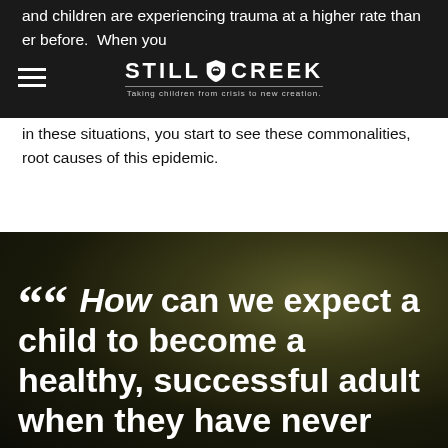and children are experiencing trauma at a higher rate than ever before. When you look at the families in these situations, you start to see these commonalities, root causes of this epidemic.
[Figure (logo): Still Creek logo with shield icon and tagline 'Taking children from crisis to new creation.' on dark navigation bar]
[Figure (photo): Dark blurred outdoor background photo with bokeh forest/nature scene in dark green and brown tones]
““ How can we expect a child to become a healthy, successful adult when they have never